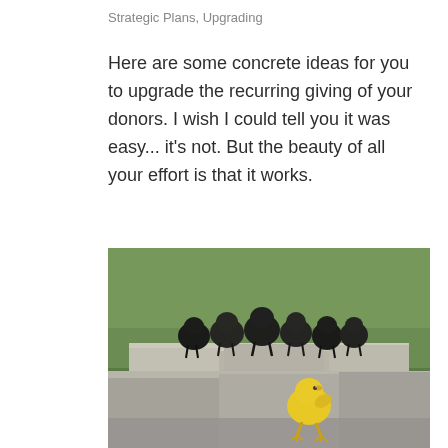Strategic Plans, Upgrading
Here are some concrete ideas for you to upgrade the recurring giving of your donors. I wish I could tell you it was easy... it's not. But the beauty of all your effort is that it works.
[Figure (photo): A yellow duckling standing on a stone ledge looking up at a group of dark/black ducklings huddled together on the ledge above, with a green blurred background.]